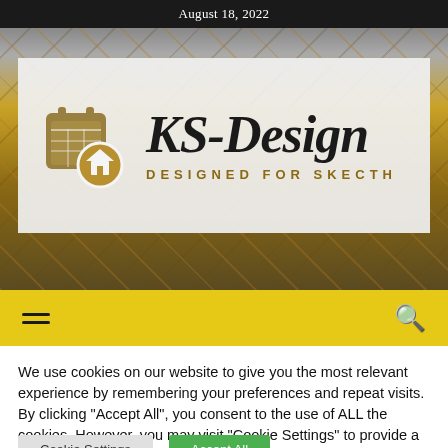August 18, 2022
[Figure (logo): KS-Design logo with calendar/home icon and text 'KS-Design DESIGNED FOR SKECTH' on a construction site background]
We use cookies on our website to give you the most relevant experience by remembering your preferences and repeat visits. By clicking "Accept All", you consent to the use of ALL the cookies. However, you may visit "Cookie Settings" to provide a controlled consent.
Cookie Settings
Accept All